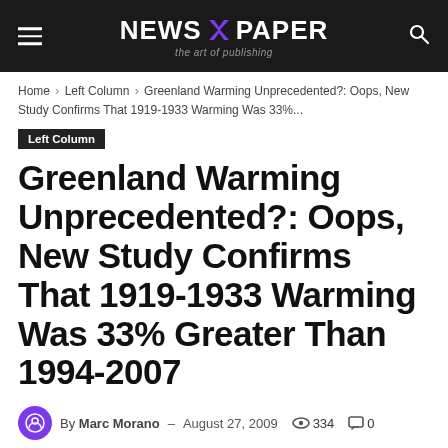NEWS X PAPER — the art of publishing
Home › Left Column › Greenland Warming Unprecedented?: Oops, New Study Confirms That 1919-1933 Warming Was 33%...
Left Column
Greenland Warming Unprecedented?: Oops, New Study Confirms That 1919-1933 Warming Was 33% Greater Than 1994-2007
By Marc Morano – August 27, 2009  👁 334  💬 0